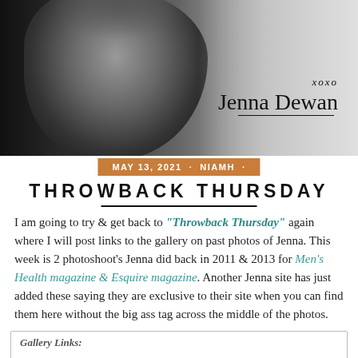[Figure (photo): Black and white glamour photo of a woman with curly hair, with a handwritten signature 'xoxo Jenna Dewan' overlaid on the right side]
MAY 13, 2021 · NIAMH ·
THROWBACK THURSDAY
I am going to try & get back to "Throwback Thursday" again where I will post links to the gallery on past photos of Jenna. This week is 2 photoshoot's Jenna did back in 2011 & 2013 for Men's Health magazine & Esquire magazine. Another Jenna site has just added these saying they are exclusive to their site when you can find them here without the big ass tag across the middle of the photos.
Gallery Links: